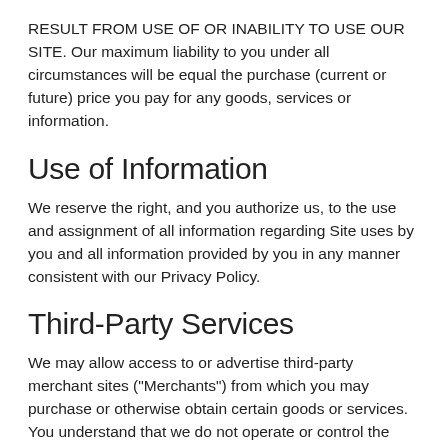RESULT FROM USE OF OR INABILITY TO USE OUR SITE. Our maximum liability to you under all circumstances will be equal the purchase (current or future) price you pay for any goods, services or information.
Use of Information
We reserve the right, and you authorize us, to the use and assignment of all information regarding Site uses by you and all information provided by you in any manner consistent with our Privacy Policy.
Third-Party Services
We may allow access to or advertise third-party merchant sites ("Merchants") from which you may purchase or otherwise obtain certain goods or services. You understand that we do not operate or control the products or services offered by Merchants. Merchants are responsible for all